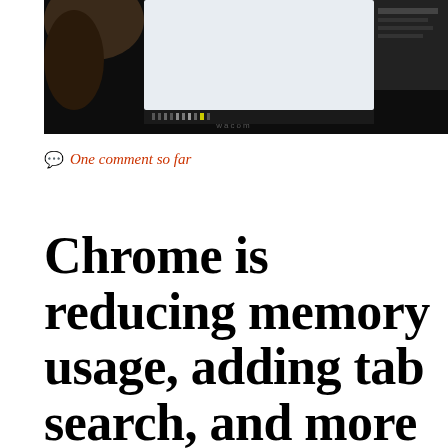[Figure (photo): A dark photograph showing a Wacom tablet/display screen being used in a dim environment, with a taskbar and windows visible on the screen.]
One comment so far
Chrome is reducing memory usage, adding tab search, and more